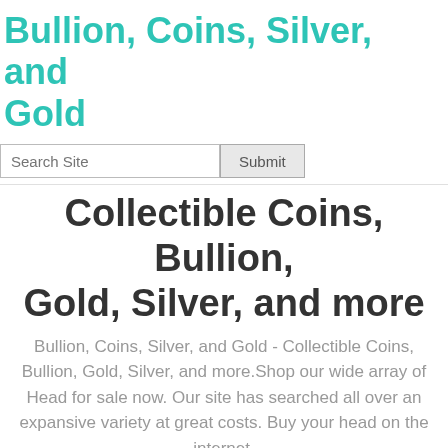Bullion, Coins, Silver, and Gold
Search Site  Submit
Collectible Coins, Bullion, Gold, Silver, and more
Bullion, Coins, Silver, and Gold - Collectible Coins, Bullion, Gold, Silver, and more.Shop our wide array of Head for sale now. Our site has searched all over an expansive variety at great costs. Buy your head on the internet.
Head